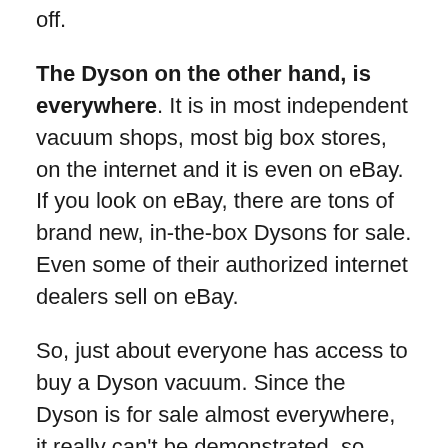off.
The Dyson on the other hand, is everywhere. It is in most independent vacuum shops, most big box stores, on the internet and it is even on eBay. If you look on eBay, there are tons of brand new, in-the-box Dysons for sale. Even some of their authorized internet dealers sell on eBay.
So, just about everyone has access to buy a Dyson vacuum. Since the Dyson is for sale almost everywhere, it really can't be demonstrated, so James Dyson had to make it visually appealing to get the extra money out of it.
That's one thing we have come to realize here at Great-Vacs is the #1 reason that people buy vacuums is based on looks.